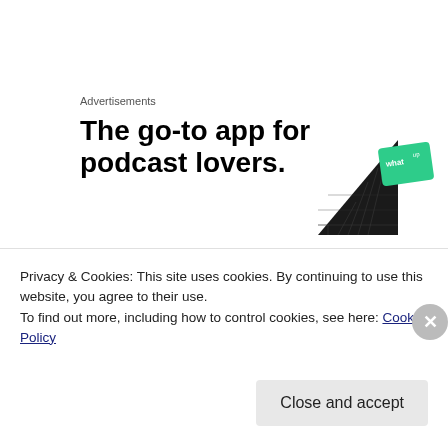Advertisements
The go-to app for podcast lovers.
[Figure (illustration): Podcast app graphic showing a black triangle and green card with text 'what' and 'up' on white background]
[Figure (photo): Close-up of a burger/hamburger with sesame seed bun on a brown background]
Privacy & Cookies: This site uses cookies. By continuing to use this website, you agree to their use.
To find out more, including how to control cookies, see here: Cookie Policy
Close and accept